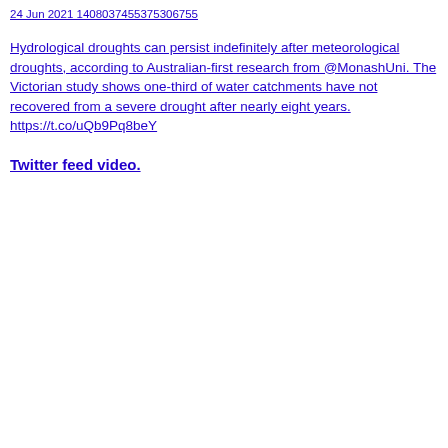24 Jun 2021 1408037455375306755
Hydrological droughts can persist indefinitely after meteorological droughts, according to Australian-first research from @MonashUni. The Victorian study shows one-third of water catchments have not recovered from a severe drought after nearly eight years. https://t.co/uQb9Pq8beY
Twitter feed video.